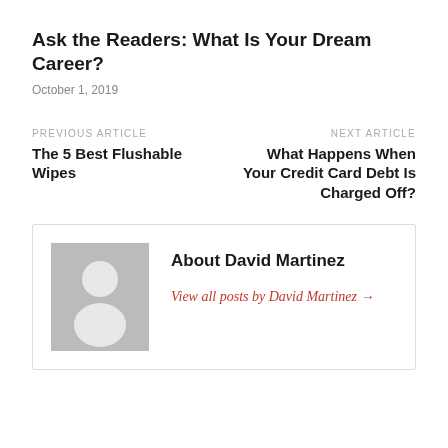Ask the Readers: What Is Your Dream Career?
October 1, 2019
PREVIOUS ARTICLE
The 5 Best Flushable Wipes
NEXT ARTICLE
What Happens When Your Credit Card Debt Is Charged Off?
[Figure (illustration): Generic user avatar placeholder image: grey square with white silhouette of a person (head and shoulders)]
About David Martinez
View all posts by David Martinez →